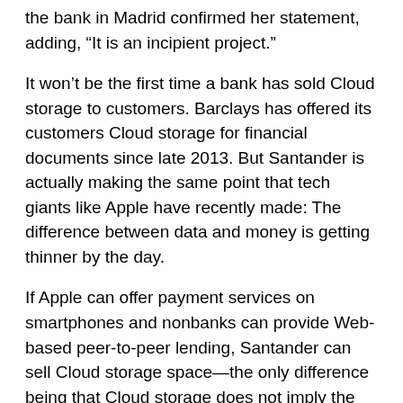the bank in Madrid confirmed her statement, adding, “It is an incipient project.”
It won’t be the first time a bank has sold Cloud storage to customers. Barclays has offered its customers Cloud storage for financial documents since late 2013. But Santander is actually making the same point that tech giants like Apple have recently made: The difference between data and money is getting thinner by the day.
If Apple can offer payment services on smartphones and nonbanks can provide Web-based peer-to-peer lending, Santander can sell Cloud storage space—the only difference being that Cloud storage does not imply the same level of capital that is required for real loans by banking regulators.
As banks look for ways to boost their business without spending capital, offering such storage solutions and taking advantage of their large investments in data centers may make financial and strategic sense.